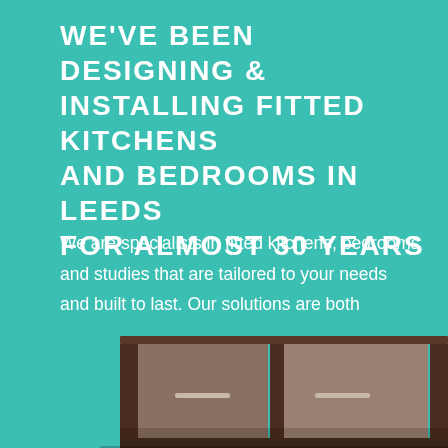WE'VE BEEN DESIGNING & INSTALLING FITTED KITCHENS AND BEDROOMS IN LEEDS FOR ALMOST 30 YEARS
We are specialists in fitted kitchens, bedrooms and studies that are tailored to your needs and built to last. Our solutions are both stunning and practical and our experienced design team are waiting to help transform your space and enhance your lifestyle.
[Figure (photo): Bottom portion of a fitted kitchen cabinet unit with dark wood frame visible against teal background]